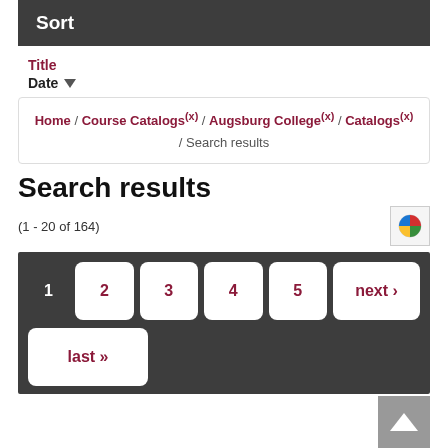Sort
Title
Date
Home / Course Catalogs (x) / Augsburg College (x) / Catalogs (x) / Search results
Search results
(1 - 20 of 164)
1  2  3  4  5  next ›  last »